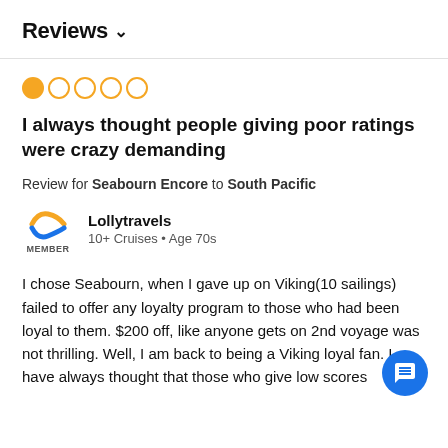Reviews ∨
[Figure (other): 1-out-of-5 star rating displayed as one filled orange circle and four empty orange circles]
I always thought people giving poor ratings were crazy demanding
Review for Seabourn Encore to South Pacific
[Figure (logo): Cruise Critic member logo with orange and blue swoosh icon and MEMBER label underneath]
Lollytravels
10+ Cruises • Age 70s
I chose Seabourn, when I gave up on Viking(10 sailings) failed to offer any loyalty program to those who had loyal to them. $200 off, like anyone gets on 2nd voyage was not thrilling. Well, I am back to being a Viking loyal fan. I have always thought that those who give low scores